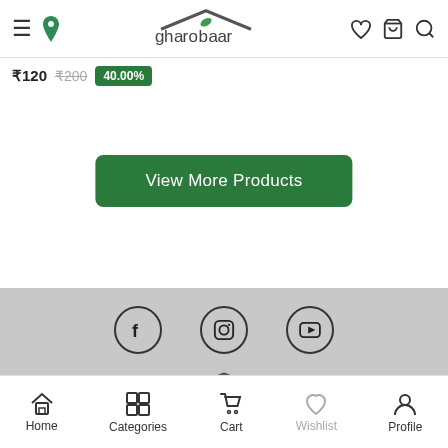gharobaar - ghar se ghar tak
₹120  ₹200  40.00%
View More Products
[Figure (logo): Social media icons: Facebook, Instagram, YouTube in circular outlines]
[Figure (logo): Gharobaar logo with house icon and tagline 'ghar se ghar tak']
Home  Categories  Cart  Wishlist  Profile